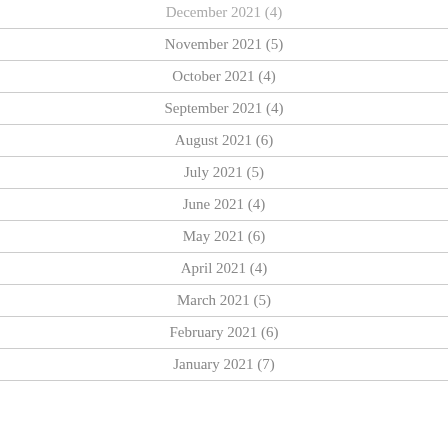December 2021 (4)
November 2021 (5)
October 2021 (4)
September 2021 (4)
August 2021 (6)
July 2021 (5)
June 2021 (4)
May 2021 (6)
April 2021 (4)
March 2021 (5)
February 2021 (6)
January 2021 (7)